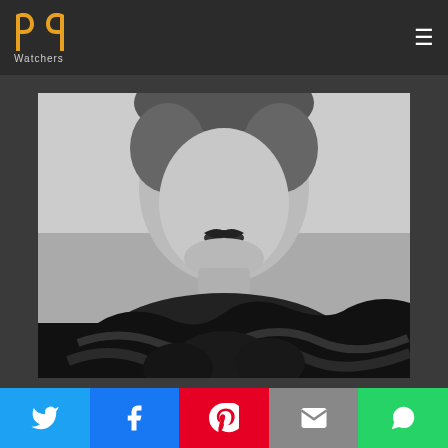PP Watchers (logo)
[Figure (photo): Black and white portrait photo of Miriam Hopkins, showing her face and upper body wearing a dark ruffled/layered garment. The upper portion of her face is cropped.]
Miriam Hopkins
Character : Mary 'Swan' Rutledge
[Figure (infographic): Social sharing bar with five buttons: Twitter (blue), Facebook (dark blue), Pinterest (red), Email (gray), WhatsApp (green)]